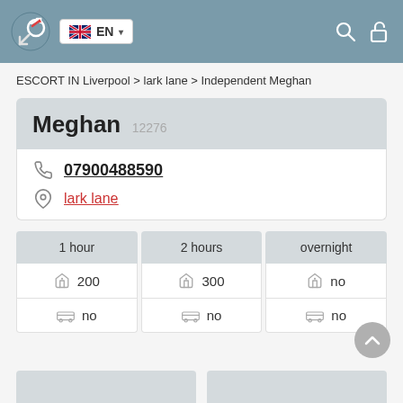EN - language selector header with search and lock icons
ESCORT IN Liverpool > lark lane > Independent Meghan
Meghan 12276
07900488590
lark lane
| 1 hour | 2 hours | overnight |
| --- | --- | --- |
| 200 | 300 | no |
| no | no | no |